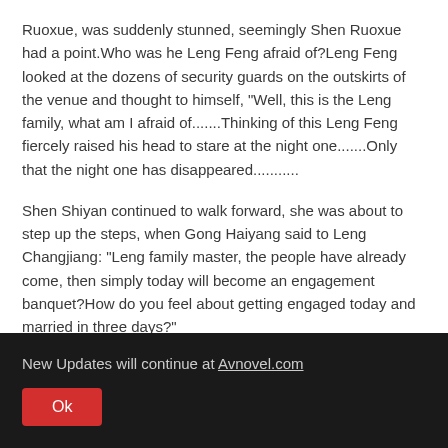Ruoxue, was suddenly stunned, seemingly Shen Ruoxue had a point.Who was he Leng Feng afraid of?Leng Feng looked at the dozens of security guards on the outskirts of the venue and thought to himself, "Well, this is the Leng family, what am I afraid of.......Thinking of this Leng Feng fiercely raised his head to stare at the night one.......Only that the night one has disappeared...........
Shen Shiyan continued to walk forward, she was about to step up the steps, when Gong Haiyang said to Leng Changjiang: "Leng family master, the people have already come, then simply today will become an engagement banquet?How do you feel about getting engaged today and married in three days?"
New Updates will continue at Avnovel.com